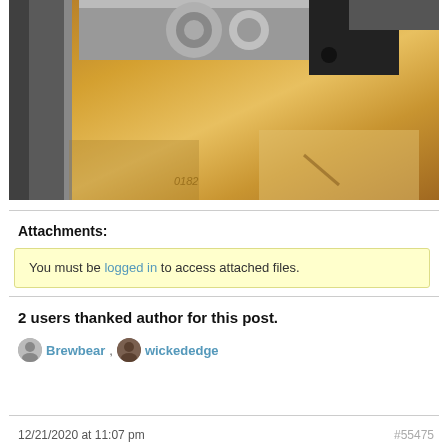[Figure (photo): Close-up photo of metal hardware (bolt, nut, bracket) mounted on or near a wooden surface. Metal parts visible include silver bolts and nuts and a dark metal block/bracket. Left side shows a dark grey metal channel or frame.]
Attachments:
You must be logged in to access attached files.
2 users thanked author for this post.
Brewbear , wickededge
12/21/2020 at 11:07 pm  #55475